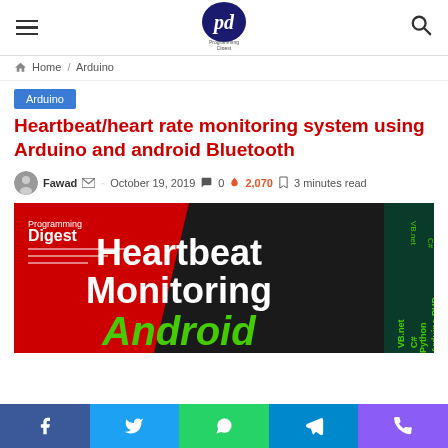Programming Digest — site header with hamburger menu, logo, and search icon
Home / Arduino
Arduino
Heartbeat/heart rate monitoring system using Arduino and android Bluetooth
Fawad · October 19, 2019 · 0 comments · 2,070 views · 3 minutes read
[Figure (photo): Featured article image showing 'Heartbeat Monitoring Android' text over a red and black background with Programming Digest branding and technology tags (VB.net, C#, Python, Arduino, PHP)]
Social sharing buttons: Facebook, Twitter, WhatsApp, Telegram, Phone